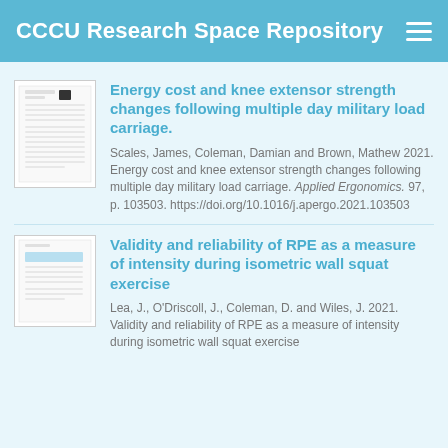CCCU Research Space Repository
Energy cost and knee extensor strength changes following multiple day military load carriage.
Scales, James, Coleman, Damian and Brown, Mathew 2021. Energy cost and knee extensor strength changes following multiple day military load carriage. Applied Ergonomics. 97, p. 103503. https://doi.org/10.1016/j.apergo.2021.103503
Validity and reliability of RPE as a measure of intensity during isometric wall squat exercise
Lea, J., O'Driscoll, J., Coleman, D. and Wiles, J. 2021. Validity and reliability of RPE as a measure of intensity during isometric wall squat exercise